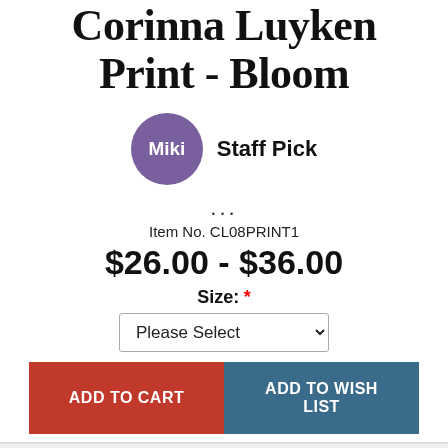Corinna Luyken Print - Bloom
[Figure (other): Purple circle avatar with 'Miki' text inside, next to 'Staff Pick' label]
...
Item No. CL08PRINT1
$26.00 - $36.00
Size: *
Please Select
ADD TO CART
ADD TO WISH LIST
[Figure (photo): Floral watercolor fabric print showing colorful flowers in pink, orange, and dark tones]